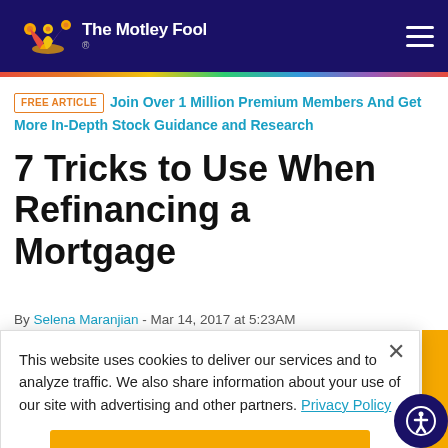The Motley Fool
FREE ARTICLE | Join Over 1 Million Premium Members And Get More In-Depth Stock Guidance and Research
7 Tricks to Use When Refinancing a Mortgage
By Selena Maranjian - Mar 14, 2017 at 5:23AM
This website uses cookies to deliver our services and to analyze traffic. We also share information about your use of our site with advertising and other partners. Privacy Policy
Got it
Cookie Settings